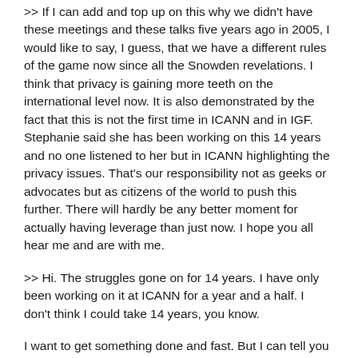>> If I can add and top up on this why we didn't have these meetings and these talks five years ago in 2005, I would like to say, I guess, that we have a different rules of the game now since all the Snowden revelations. I think that privacy is gaining more teeth on the international level now. It is also demonstrated by the fact that this is not the first time in ICANN and in IGF. Stephanie said she has been working on this 14 years and no one listened to her but in ICANN highlighting the privacy issues. That's our responsibility not as geeks or advocates but as citizens of the world to push this further. There will hardly be any better moment for actually having leverage than just now. I hope you all hear me and are with me.
>> Hi. The struggles gone on for 14 years. I have only been working on it at ICANN for a year and a half. I don't think I could take 14 years, you know.
I want to get something done and fast. But I can tell you why nothing has happened from the other side, from civil society side. I I should wait until my research is done, but my experience as someone volunteering my time while there are the best Intellectual Property lawyers around sitting across the table from me, and they are getting paid. Meantime, this is not me whining about my expenses not being paid from a year ago. It